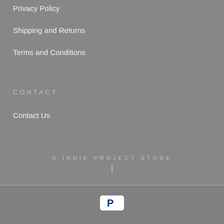Privacy Policy
Shipping and Returns
Terms and Conditions
CONTACT
Contact Us
© INDIE PROJECT STORE
|
[Figure (logo): PayPal logo button — white rounded rectangle with blue PayPal P symbol]